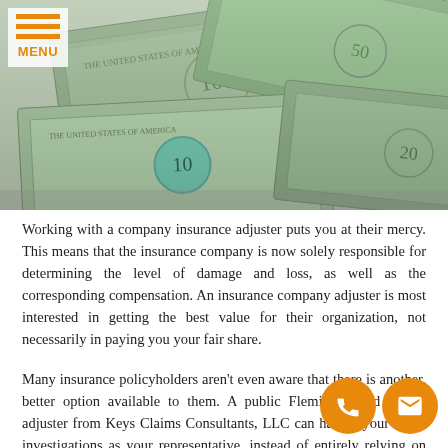[Figure (photo): Hero image showing US dollar bills scattered, viewed from above. A hamburger menu icon with orange lines and orange 'MENU' label is overlaid in the top-left corner.]
Working with a company insurance adjuster puts you at their mercy. This means that the insurance company is now solely responsible for determining the level of damage and loss, as well as the corresponding compensation. An insurance company adjuster is most interested in getting the best value for their organization, not necessarily in paying you your fair share.
Many insurance policyholders aren't even aware that there is another, better option available to them. A public Fleming Island claims adjuster from Keys Claims Consultants, LLC can handle your claim investigations as your representative, instead of entirely relying on the insurance company to be thorough and fa...
We can do so because our mission as a public adjuster...